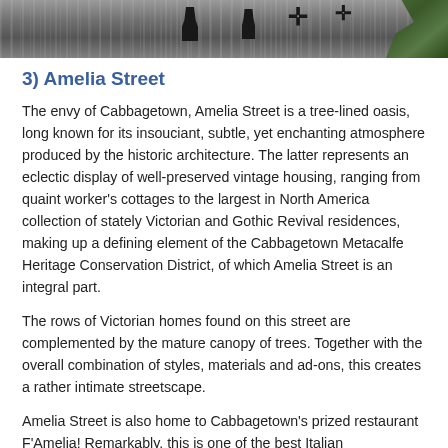[Figure (photo): Top strip of a photo showing a white fence/picket structure with dark silhouettes and greenery on the right side]
3) Amelia Street
The envy of Cabbagetown, Amelia Street is a tree-lined oasis, long known for its insouciant, subtle, yet enchanting atmosphere produced by the historic architecture. The latter represents an eclectic display of well-preserved vintage housing, ranging from quaint worker's cottages to the largest in North America collection of stately Victorian and Gothic Revival residences, making up a defining element of the Cabbagetown Metacalfe Heritage Conservation District, of which Amelia Street is an integral part.
The rows of Victorian homes found on this street are complemented by the mature canopy of trees. Together with the overall combination of styles, materials and ad-ons, this creates a rather intimate streetscape.
Amelia Street is also home to Cabbagetown's prized restaurant F'Amelia! Remarkably, this is one of the best Italian